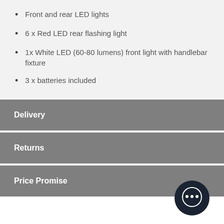Front and rear LED lights
6 x Red LED rear flashing light
1x White LED (60-80 lumens) front light with handlebar fixture
3 x batteries included
Delivery
Returns
Price Promise
[Figure (illustration): Chat bubble icon, dark navy circle with speech bubble cutout]